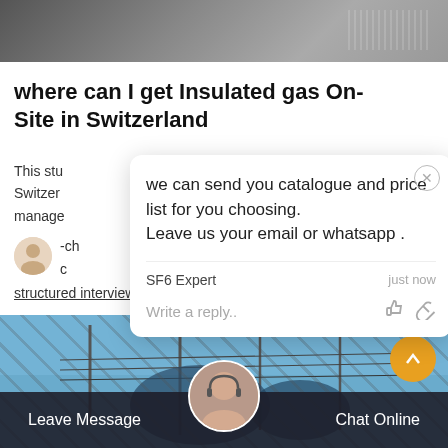[Figure (photo): Top photograph strip showing an outdoor scene, possibly a building or landscape, partially visible]
where can I get Insulated gas On-Site in Switzerland
This stu... of Switzerland... ular manage... l IM. The -ch... M w... n C... re... hi- structured interviews and a workshop
[Figure (photo): Chat popup overlay with message: 'we can send you catalogue and price list for you choosing. Leave us your email or whatsapp .' From SF6 Expert, just now. Input field: Write a reply..]
[Figure (photo): Bottom photo showing electrical power infrastructure with blue sky]
Leave Message    Chat Online